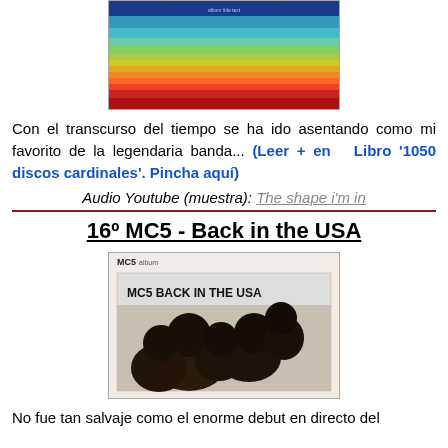[Figure (photo): Album cover with colorful abstract horizontal bands in blue, green, yellow, and orange/red]
Con el transcurso del tiempo se ha ido asentando como mi favorito de la legendaria banda... (Leer + en Libro '1050 discos cardinales'. Pincha aquí)
Audio Youtube (muestra): The shape i'm in
16º MC5 - Back in the USA
[Figure (photo): MC5 Back in the USA album cover - black and white photo of band members with text 'MC5 BACK IN THE USA']
No fue tan salvaje como el enorme debut en directo del